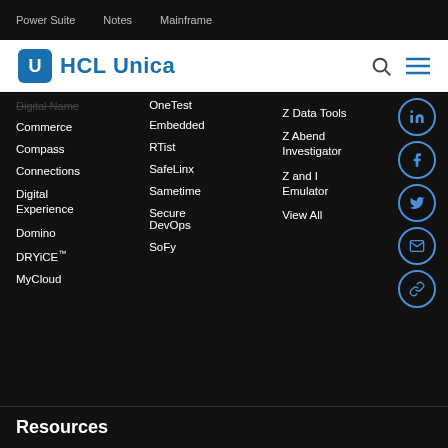Power Suite   Notes   Mainframe
[Figure (logo): HCL Unica logo with blue speech bubble icon containing letter U]
OneTest
Commerce
Embedded
Compass
RTist
Connections
SafeLinx
Digital Experience
Sametime
Domino
Secure DevOps
DRYiCE™
SoFy
MyCloud
Z Data Tools
Z Abend Investigator
Z and I Emulator
View All
Resources
Resources Home